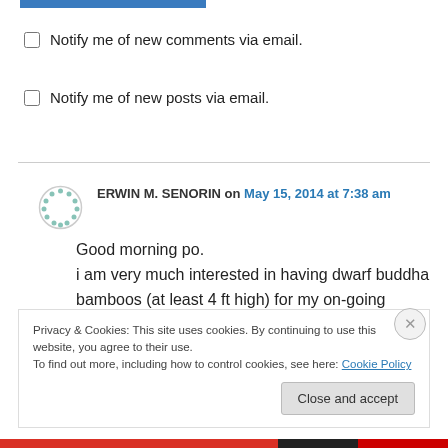[Figure (other): Blue horizontal bar at top]
Notify me of new comments via email.
Notify me of new posts via email.
ERWIN M. SENORIN on May 15, 2014 at 7:38 am
Good morning po.
i am very much interested in having dwarf buddha bamboos (at least 4 ft high) for my on-going process roof-top garden and I would like to
Privacy & Cookies: This site uses cookies. By continuing to use this website, you agree to their use.
To find out more, including how to control cookies, see here: Cookie Policy